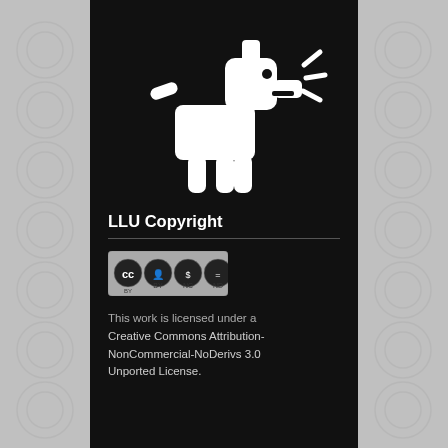[Figure (logo): White stylized barking dog logo on black background (LLU mascot/logo)]
LLU Copyright
[Figure (logo): Creative Commons BY-NC-ND license badge]
This work is licensed under a Creative Commons Attribution-NonCommercial-NoDerivs 3.0 Unported License.